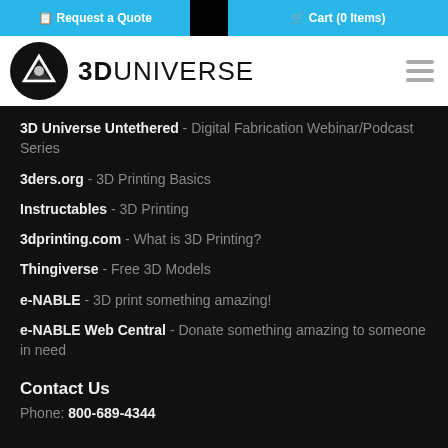Request a Quote | Cart (0 Items)
[Figure (logo): 3D Universe logo with circular icon and company name]
3D Universe Untethered - Digital Fabrication Webinar/Podcast Series
3ders.org - 3D Printing Basics
Instructables - 3D Printing
3dprinting.com - What is 3D Printing?
Thingiverse - Free 3D Models
e-NABLE - 3D print something amazing!
e-NABLE Web Central - Donate something amazing to someone in need
Contact Us
Phone: 800-689-4344